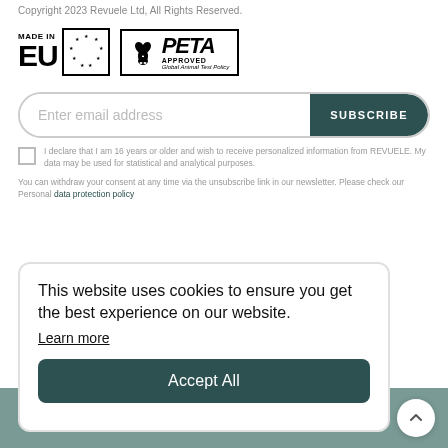Copyright 2023 Revuele Ltd, All Rights Reserved.
[Figure (logo): MADE IN EU badge with EU star circle, and PETA APPROVED Global Animal Test Policy badge]
Enter email address
SUBSCRIBE
I declare that I am 16 years or older and wish to receive personalized information from REVUELE. My data may be used for statistical and analytical purposes.
You can withdraw your consent at any time via the unsubscribe link in our newsletter. Please check our Personal data protection policy
This website uses cookies to ensure you get the best experience on our website. Learn more
Accept All